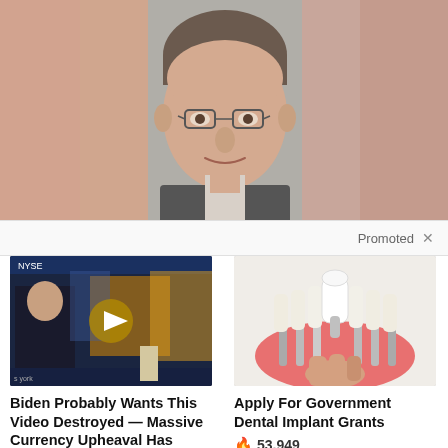[Figure (photo): Headshot of a middle-aged man with short brown hair and glasses, wearing a dark blazer and light collared shirt, smiling slightly against a gray background. The image is blurred on the left and right edges.]
Promoted ✕
[Figure (screenshot): Thumbnail of a video showing a man in a dark suit being interviewed in a TV studio with financial tickers visible. A play button overlay is in the center.]
Biden Probably Wants This Video Destroyed — Massive Currency Upheaval Has Started
🔥 85,651
[Figure (illustration): Medical illustration of dental implants showing teeth with one tooth being held up by a hand, revealing the implant post in the gum.]
Apply For Government Dental Implant Grants
🔥 53,949